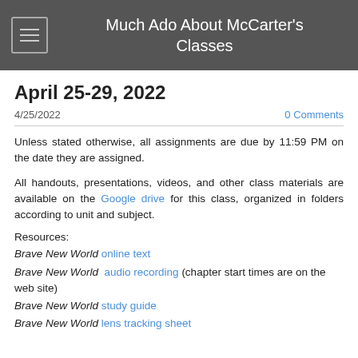Much Ado About McCarter's Classes
April 25-29, 2022
4/25/2022    0 Comments
Unless stated otherwise, all assignments are due by 11:59 PM on the date they are assigned.
All handouts, presentations, videos, and other class materials are available on the Google drive for this class, organized in folders according to unit and subject.
Resources:
Brave New World online text
Brave New World audio recording (chapter start times are on the web site)
Brave New World study guide
Brave New World lens tracking sheet